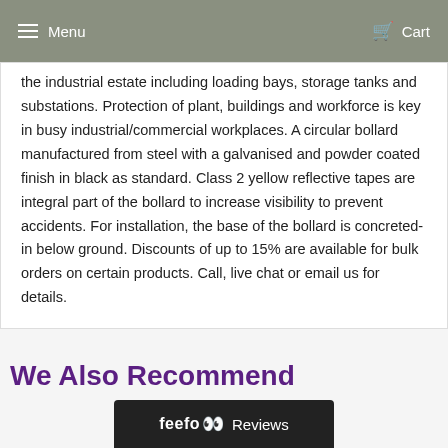Menu   Cart
the industrial estate including loading bays, storage tanks and substations. Protection of plant, buildings and workforce is key in busy industrial/commercial workplaces. A circular bollard manufactured from steel with a galvanised and powder coated finish in black as standard. Class 2 yellow reflective tapes are integral part of the bollard to increase visibility to prevent accidents. For installation, the base of the bollard is concreted-in below ground. Discounts of up to 15% are available for bulk orders on certain products. Call, live chat or email us for details.
We Also Recommend